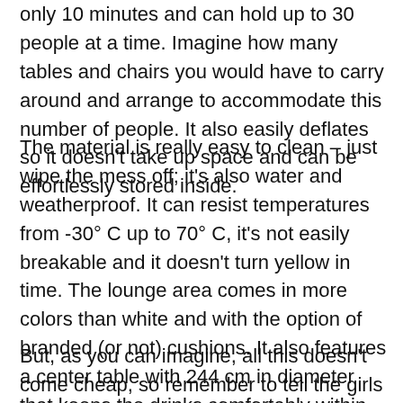only 10 minutes and can hold up to 30 people at a time. Imagine how many tables and chairs you would have to carry around and arrange to accommodate this number of people. It also easily deflates so it doesn't take up space and can be effortlessly stored inside.
The material is really easy to clean – just wipe the mess off; it's also water and weatherproof. It can resist temperatures from -30° C up to 70° C, it's not easily breakable and it doesn't turn yellow in time. The lounge area comes in more colors than white and with the option of branded (or not) cushions. It also features a center table with 244 cm in diameter that keeps the drinks comfortably within reach.
But, as you can imagine, all this doesn't come cheap, so remember to tell the girls to leave their pointy heels at the entrance, or you'll be left with a $7,000 to